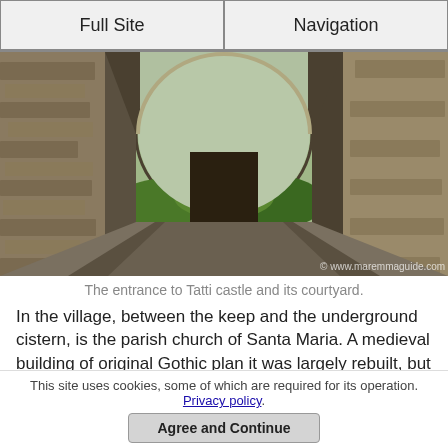Full Site | Navigation
[Figure (photo): Looking through a stone archway passage (entrance to Tatti castle and its courtyard). Stone walls on both sides, a large arched opening revealing green hills and vegetation in the background. Copyright watermark: © www.maremmaguide.com]
The entrance to Tatti castle and its courtyard.
In the village, between the keep and the underground cistern, is the parish church of Santa Maria. A medieval building of original Gothic plan it was largely rebuilt, but some fragments of the original construction remain along the right wall of the church. The inhabitants of Tatti also have the church of San Sebastian, located inside the walls, and
This site uses cookies, some of which are required for its operation. Privacy policy.
Agree and Continue